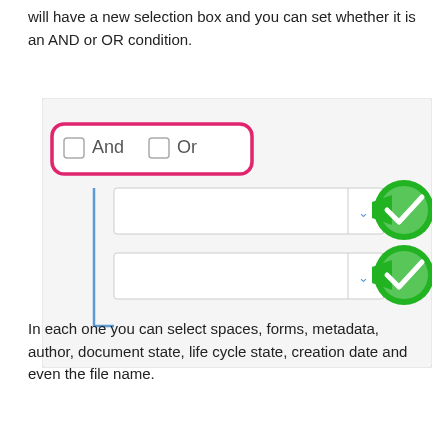will have a new selection box and you can set whether it is an AND or OR condition.
[Figure (screenshot): UI panel showing 'And' and 'Or' checkboxes highlighted with a pink border, with two dropdown rows below connected by a bracket line, each with a green checkmark icon.]
In each one you can select spaces, forms, metadata, author, document state, life cycle state, creation date and even the file name.